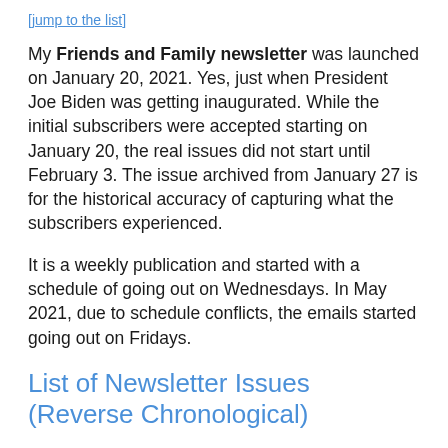[jump to the list]
My Friends and Family newsletter was launched on January 20, 2021. Yes, just when President Joe Biden was getting inaugurated. While the initial subscribers were accepted starting on January 20, the real issues did not start until February 3. The issue archived from January 27 is for the historical accuracy of capturing what the subscribers experienced.
It is a weekly publication and started with a schedule of going out on Wednesdays. In May 2021, due to schedule conflicts, the emails started going out on Fridays.
List of Newsletter Issues (Reverse Chronological)